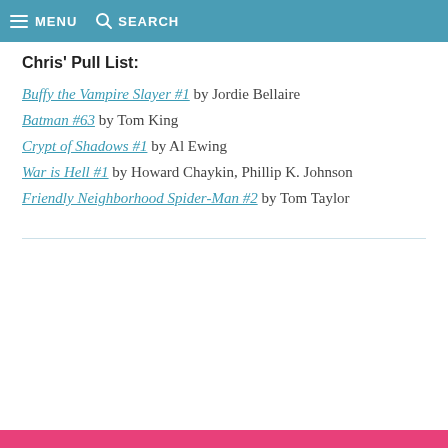MENU  SEARCH
Chris' Pull List:
Buffy the Vampire Slayer #1 by Jordie Bellaire
Batman #63 by Tom King
Crypt of Shadows #1 by Al Ewing
War is Hell #1 by Howard Chaykin, Phillip K. Johnson
Friendly Neighborhood Spider-Man #2 by Tom Taylor